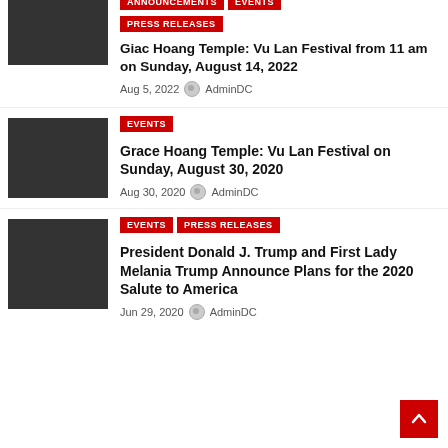[Figure (photo): Dark placeholder thumbnail image]
ANNOUNCEMENTS EVENTS PRESS RELEASES
Giac Hoang Temple: Vu Lan Festival from 11 am on Sunday, August 14, 2022
Aug 5, 2022 AdminDC
[Figure (photo): Dark placeholder thumbnail image]
EVENTS
Grace Hoang Temple: Vu Lan Festival on Sunday, August 30, 2020
Aug 30, 2020 AdminDC
[Figure (photo): Dark placeholder thumbnail image]
EVENTS PRESS RELEASES
President Donald J. Trump and First Lady Melania Trump Announce Plans for the 2020 Salute to America
Jun 29, 2020 AdminDC